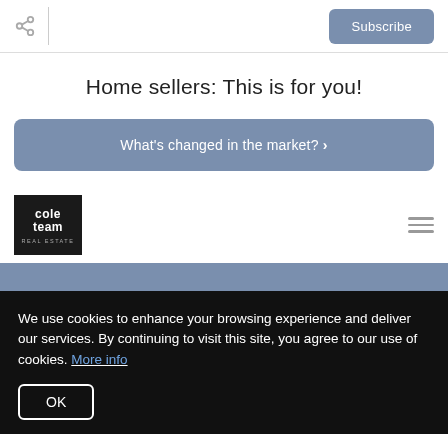Share | Subscribe
Home sellers: This is for you!
What's changed in the market? ›
[Figure (logo): Cole Team Real Estate logo - black square with white text]
We use cookies to enhance your browsing experience and deliver our services. By continuing to visit this site, you agree to our use of cookies. More info
OK